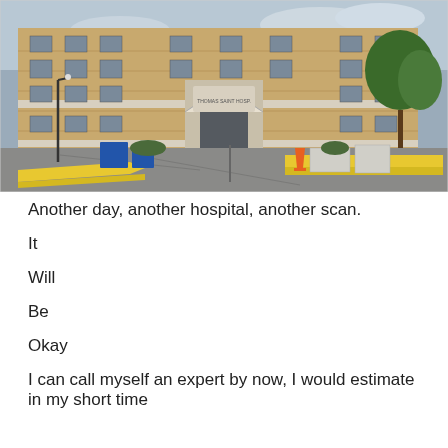[Figure (photo): Exterior photograph of a large brick hospital building, several stories tall, with a prominent arched entrance. Construction barriers, orange traffic cones, yellow curbs, blue dumpsters, and construction equipment are visible in the foreground parking area. Trees are visible to the right under an overcast sky.]
Another day, another hospital, another scan.
It
Will
Be
Okay
I can call myself an expert by now, I would estimate in my short time